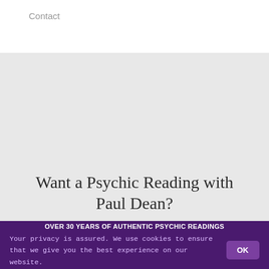Contact
Want a Psychic Reading with Paul Dean?
OVER 30 YEARS OF AUTHENTIC PSYCHIC READINGS
Your privacy is assured. We use cookies to ensure that we give you the best experience on our website.